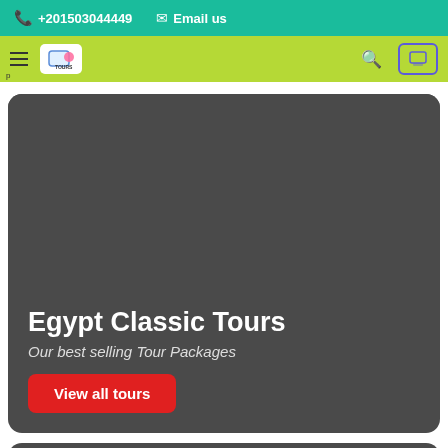+201503044449   Email us
[Figure (screenshot): Navigation bar with logo (Tours brand) on a yellow-green background with hamburger menu, search icon, and cart button]
Egypt Classic Tours
Our best selling Tour Packages
View all tours
[Figure (screenshot): Bottom dark card section partially visible]